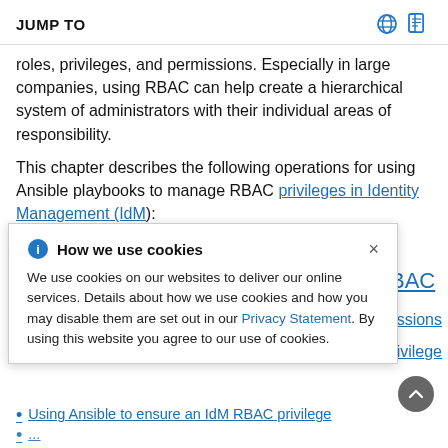JUMP TO
roles, privileges, and permissions. Especially in large companies, using RBAC can help create a hierarchical system of administrators with their individual areas of responsibility.
This chapter describes the following operations for using Ansible playbooks to manage RBAC privileges in Identity Management (IdM):
[Figure (screenshot): Cookie consent popup dialog titled 'How we use cookies' with an info icon, close button (×), and text: 'We use cookies on our websites to deliver our online services. Details about how we use cookies and how you may disable them are set out in our Privacy Statement. By using this website you agree to our use of cookies.']
Using Ansible to ensure an IdM RBAC privilege
(partially visible list item continues)